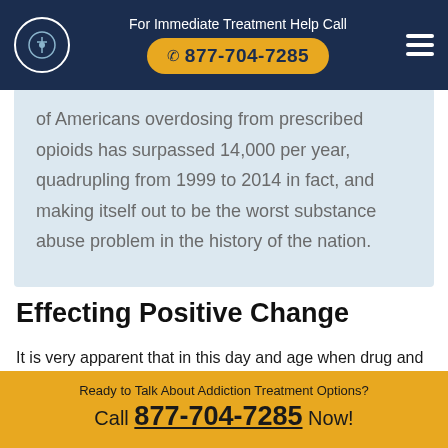For Immediate Treatment Help Call ☎ 877-704-7285
of Americans overdosing from prescribed opioids has surpassed 14,000 per year, quadrupling from 1999 to 2014 in fact, and making itself out to be the worst substance abuse problem in the history of the nation.
Effecting Positive Change
It is very apparent that in this day and age when drug and
Ready to Talk About Addiction Treatment Options? Call 877-704-7285 Now!